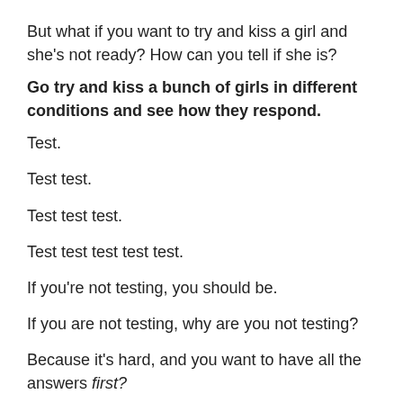But what if you want to try and kiss a girl and she's not ready? How can you tell if she is?
Go try and kiss a bunch of girls in different conditions and see how they respond.
Test.
Test test.
Test test test.
Test test test test test.
If you're not testing, you should be.
If you are not testing, why are you not testing?
Because it's hard, and you want to have all the answers first?